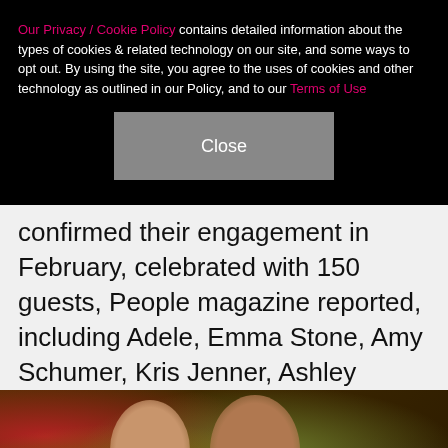Our Privacy / Cookie Policy contains detailed information about the types of cookies & related technology on our site, and some ways to opt out. By using the site, you agree to the uses of cookies and other technology as outlined in our Policy, and to our Terms of Use
Close
confirmed their engagement in February, celebrated with 150 guests, People magazine reported, including Adele, Emma Stone, Amy Schumer, Kris Jenner, Ashley Olsen, Cameron Diaz, Nicole Richie, Sienna Miller and more.
[Figure (photo): Two people photographed at an event in front of a colorful backdrop]
X